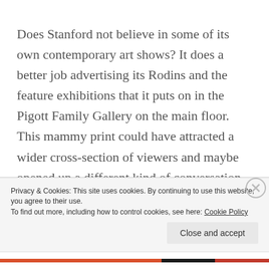Does Stanford not believe in some of its own contemporary art shows? It does a better job advertising its Rodins and the feature exhibitions that it puts on in the Pigott Family Gallery on the main floor. This mammy print could have attracted a wider cross-section of viewers and maybe opened up a different kind of conversation about perceptions in America in the year two-thousand-and-thirteen. But the curators failed to mention the print in their announcements, choosing instead to focus on Monroe, Tse Tung and Jagger. Therein lies a huge part of the trouble with museums, art
Privacy & Cookies: This site uses cookies. By continuing to use this website, you agree to their use.
To find out more, including how to control cookies, see here: Cookie Policy
Close and accept